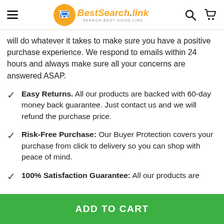BestSearch.link — Search.Best.Good.Link
will do whatever it takes to make sure you have a positive purchase experience. We respond to emails within 24 hours and always make sure all your concerns are answered ASAP.
Easy Returns. All our products are backed with 60-day money back guarantee. Just contact us and we will refund the purchase price.
Risk-Free Purchase: Our Buyer Protection covers your purchase from click to delivery so you can shop with peace of mind.
100% Satisfaction Guarantee: All our products are
ADD TO CART